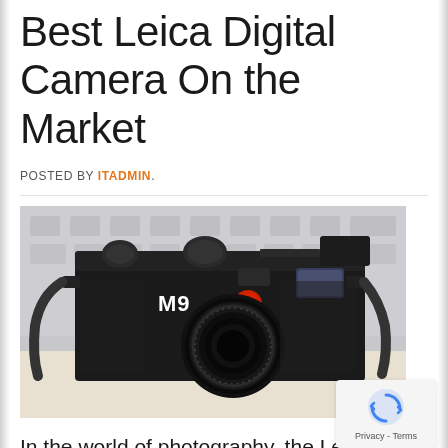Best Leica Digital Camera On the Market
POSTED BY ITADMIN.
[Figure (photo): A black Leica M9 digital rangefinder camera with lens attached, positioned on a light-colored surface with a blurred keyboard visible in the background. The camera has a red Leica logo dot and white 'M9' text on the front.]
In the world of photography, the Leica name needs little introduction. A pioneer in